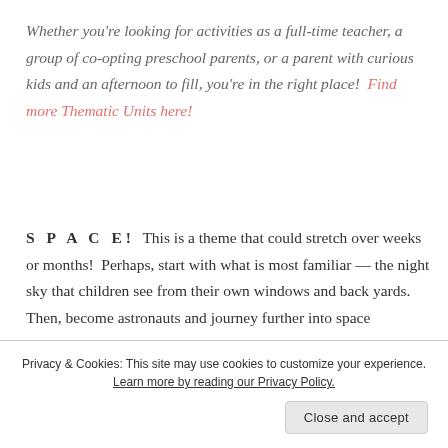Whether you're looking for activities as a full-time teacher, a group of co-opting preschool parents, or a parent with curious kids and an afternoon to fill, you're in the right place!  Find more Thematic Units here!
SPACE!  This is a theme that could stretch over weeks or months!  Perhaps, start with what is most familiar — the night sky that children see from their own windows and back yards.  Then, become astronauts and journey further into space
Privacy & Cookies: This site may use cookies to customize your experience. Learn more by reading our Privacy Policy.
Close and accept